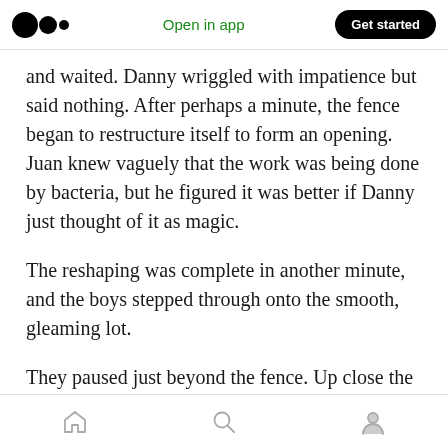Medium logo | Open in app | Get started
and waited. Danny wriggled with impatience but said nothing. After perhaps a minute, the fence began to restructure itself to form an opening. Juan knew vaguely that the work was being done by bacteria, but he figured it was better if Danny just thought of it as magic.
The reshaping was complete in another minute, and the boys stepped through onto the smooth, gleaming lot.
They paused just beyond the fence. Up close the sight of the sport mechs was almost
Home | Search | Profile